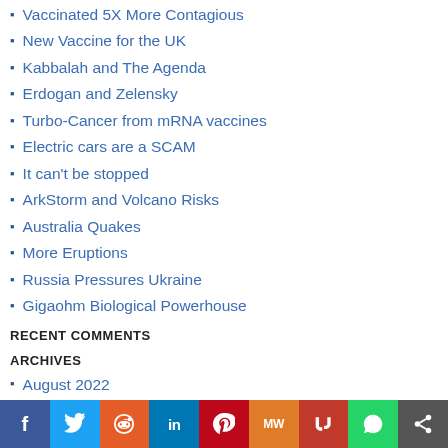Vaccinated 5X More Contagious
New Vaccine for the UK
Kabbalah and The Agenda
Erdogan and Zelensky
Turbo-Cancer from mRNA vaccines
Electric cars are a SCAM
It can't be stopped
ArkStorm and Volcano Risks
Australia Quakes
More Eruptions
Russia Pressures Ukraine
Gigaohm Biological Powerhouse
RECENT COMMENTS
ARCHIVES
August 2022
July 2022
June 2022
May 2022